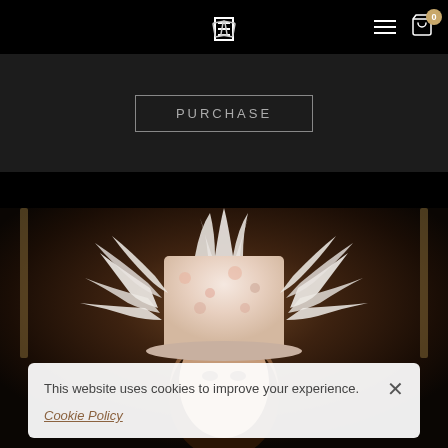Navigation bar with logo and cart icon (0 items)
[Figure (screenshot): A partially visible 'PURCHASE' button with a rectangular border outline on dark background]
[Figure (photo): Woman wearing an ornate floral top hat decorated with white ostrich feathers, photographed in warm dark tones with a gilded frame visible in the background]
This website uses cookies to improve your experience. Cookie Policy